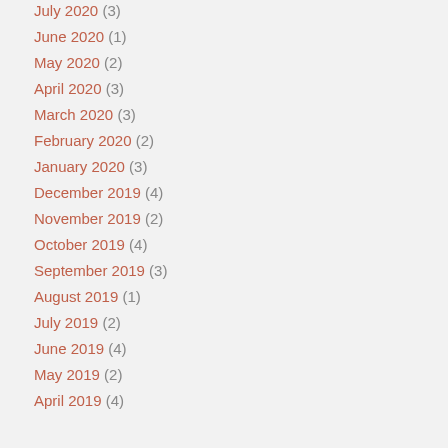July 2020 (3)
June 2020 (1)
May 2020 (2)
April 2020 (3)
March 2020 (3)
February 2020 (2)
January 2020 (3)
December 2019 (4)
November 2019 (2)
October 2019 (4)
September 2019 (3)
August 2019 (1)
July 2019 (2)
June 2019 (4)
May 2019 (2)
April 2019 (4)